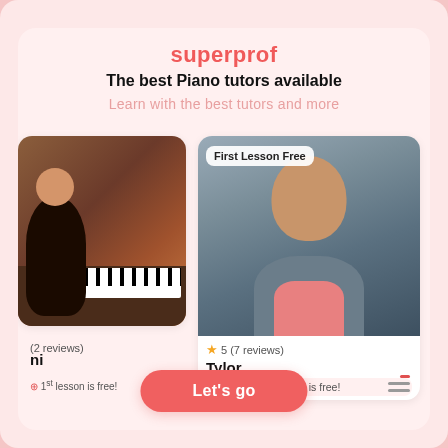superprof
The best Piano tutors available
Learn with the best tutors and more
First Lesson Free
(2 reviews)
ni
1st lesson is free!
5 (7 reviews)
Tylor
$40/h  1st lesson is free!
Let's go